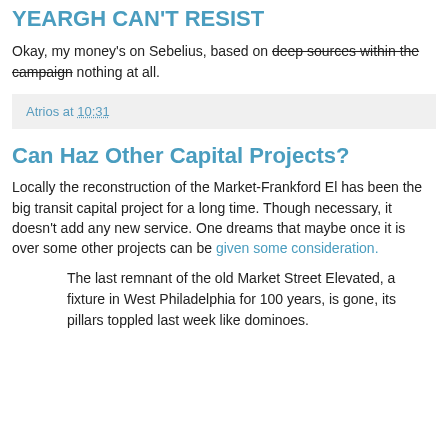YEARGH CAN'T RESIST
Okay, my money's on Sebelius, based on deep sources within the campaign nothing at all.
Atrios at 10:31
Can Haz Other Capital Projects?
Locally the reconstruction of the Market-Frankford El has been the big transit capital project for a long time. Though necessary, it doesn't add any new service. One dreams that maybe once it is over some other projects can be given some consideration.
The last remnant of the old Market Street Elevated, a fixture in West Philadelphia for 100 years, is gone, its pillars toppled last week like dominoes.